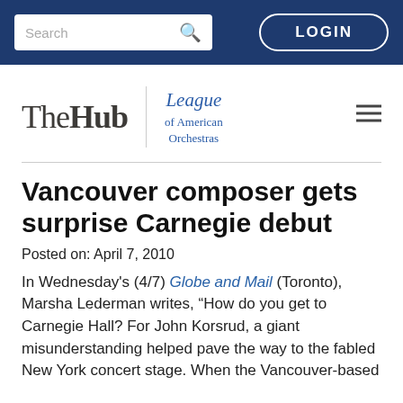Search | LOGIN
[Figure (logo): The Hub | League of American Orchestras logo with hamburger menu icon]
Vancouver composer gets surprise Carnegie debut
Posted on: April 7, 2010
In Wednesday's (4/7) Globe and Mail (Toronto), Marsha Lederman writes, “How do you get to Carnegie Hall? For John Korsrud, a giant misunderstanding helped pave the way to the fabled New York concert stage. When the Vancouver-based